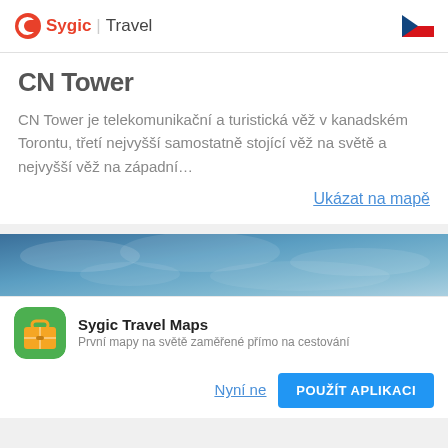Sygic Travel
CN Tower
CN Tower je telekomunikační a turistická věž v kanadském Torontu, třetí nejvyšší samostatně stojící věž na světě a nejvyšší věž na západní…
Ukázat na mapě
[Figure (photo): Blue sky/cloud aerial photo strip]
Sygic Travel Maps
První mapy na světě zaměřené přímo na cestování
Nyní ne
POUŽÍT APLIKACI